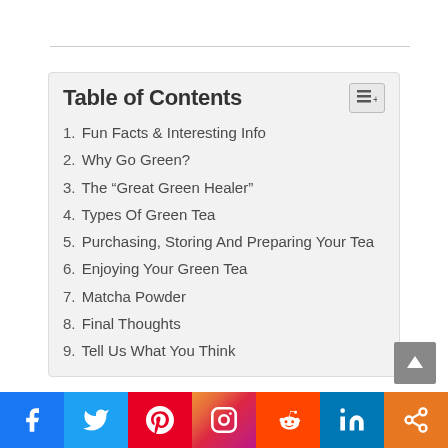Table of Contents
1. Fun Facts & Interesting Info
2. Why Go Green?
3. The “Great Green Healer”
4. Types Of Green Tea
5. Purchasing, Storing And Preparing Your Tea
6. Enjoying Your Green Tea
7. Matcha Powder
8. Final Thoughts
9. Tell Us What You Think